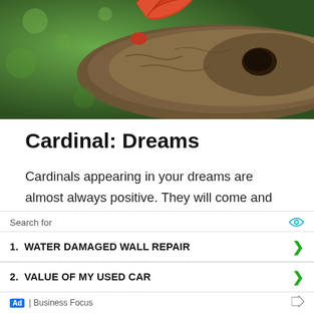[Figure (photo): A red cardinal bird in flight near a weathered wooden log, against a green blurred background]
Cardinal: Dreams
Cardinals appearing in your dreams are almost always positive. They will come and urge you to follow what passion pursuits that you have. Your dreams and hopes are important not only to your success but to your mental health as well, and
Search for
1.  WATER DAMAGED WALL REPAIR
2.  VALUE OF MY USED CAR
Ad | Business Focus